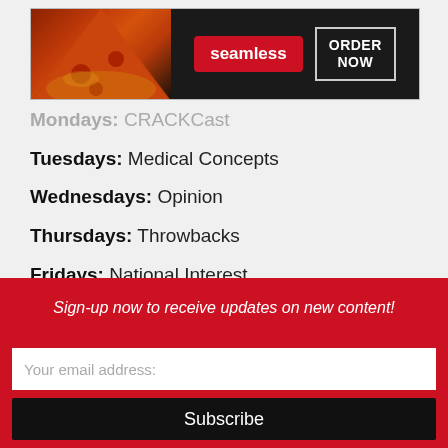[Figure (other): Seamless food delivery advertisement banner with pizza image on left, Seamless logo in red badge center, and ORDER NOW button on right against dark background]
Mondays: CRACKCast
Tuesdays: Medical Concepts
Wednesdays: Opinion
Thursdays: Throwbacks
Fridays: National Interest
SUBMIT CONTENT
Sign-up now to receive updates on new content!
Your email address:
Subscribe